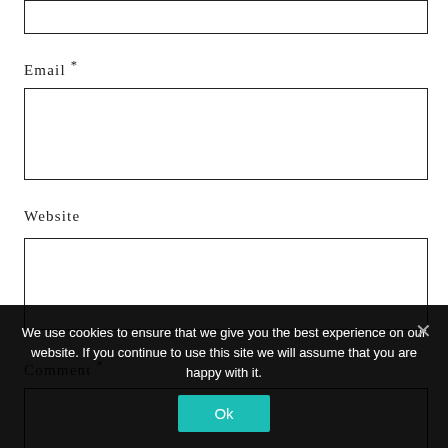[Figure (screenshot): Partial text input box at top of page (cut off)]
Email *
[Figure (screenshot): Email input text box]
Website
[Figure (screenshot): Website input text box]
Comment *
[Figure (screenshot): Comment input text box (partially visible)]
We use cookies to ensure that we give you the best experience on our website. If you continue to use this site we will assume that you are happy with it.
Ok